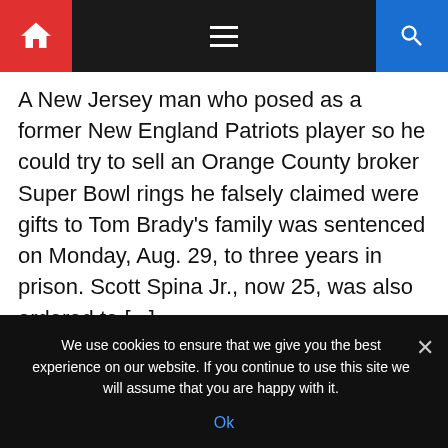Navigation bar with home, menu, and search icons
A New Jersey man who posed as a former New England Patriots player so he could try to sell an Orange County broker Super Bowl rings he falsely claimed were gifts to Tom Brady’s family was sentenced on Monday, Aug. 29, to three years in prison. Scott Spina Jr., now 25, was also ordered to [...]
NEWS
We use cookies to ensure that we give you the best experience on our website. If you continue to use this site we will assume that you are happy with it.
Ok